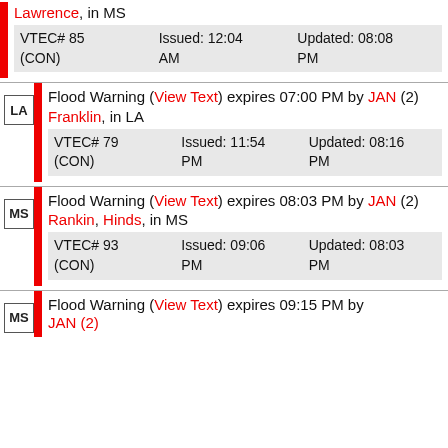Lawrence, in MS
VTEC# 85 (CON) | Issued: 12:04 AM | Updated: 08:08 PM
Flood Warning (View Text) expires 07:00 PM by JAN (2)
Franklin, in LA
VTEC# 79 (CON) | Issued: 11:54 PM | Updated: 08:16 PM
Flood Warning (View Text) expires 08:03 PM by JAN (2)
Rankin, Hinds, in MS
VTEC# 93 (CON) | Issued: 09:06 PM | Updated: 08:03 PM
Flood Warning (View Text) expires 09:15 PM by JAN (2)